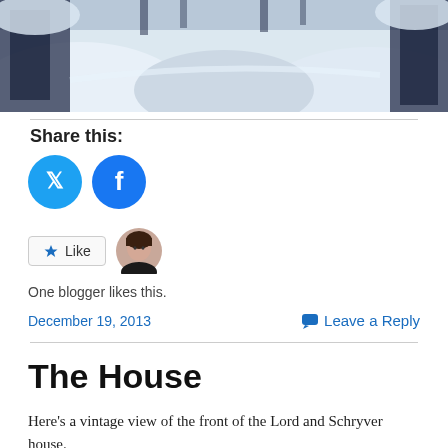[Figure (photo): Winter snow scene viewed from above, showing snow-covered landscape with trees along edges and a road or path in the middle]
Share this:
[Figure (infographic): Twitter and Facebook share buttons as blue circular icons]
[Figure (infographic): Like button widget with star icon and blogger avatar photo]
One blogger likes this.
December 19, 2013
Leave a Reply
The House
Here’s a vintage view of the front of the Lord and Schryver house.